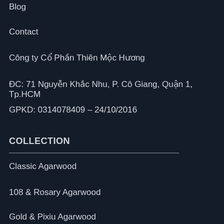Blog
Contact
Công ty Cổ Phần Thiên Mộc Hương
ĐC: 71 Nguyễn Khắc Nhu, P. Cô Giang, Quận 1, Tp.HCM
GPKD: 0314078409 – 24/10/2016
COLLECTION
Classic Agarwood
108 & Rosary Agarwood
Gold & Pixiu Agarwood